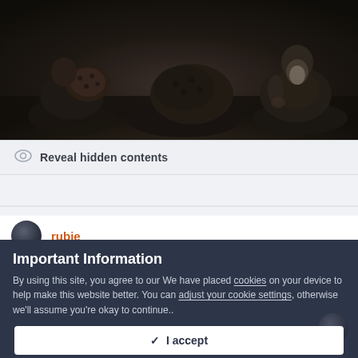[Figure (photo): Dark photograph showing figures in dark clothing, appearing to be sitting or kneeling, with muted tones of brown, black and gray]
Reveal hidden contents
rubie
Important Information
By using this site, you agree to our We have placed cookies on your device to help make this website better. You can adjust your cookie settings, otherwise we'll assume you're okay to continue..
✓  I accept